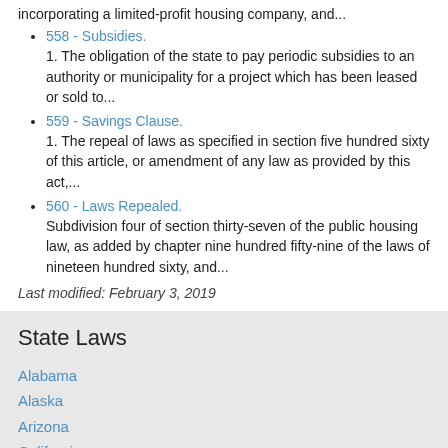incorporating a limited-profit housing company, and...
558 - Subsidies.
1. The obligation of the state to pay periodic subsidies to an authority or municipality for a project which has been leased or sold to...
559 - Savings Clause.
1. The repeal of laws as specified in section five hundred sixty of this article, or amendment of any law as provided by this act,...
560 - Laws Repealed.
Subdivision four of section thirty-seven of the public housing law, as added by chapter nine hundred fifty-nine of the laws of nineteen hundred sixty, and...
Last modified: February 3, 2019
State Laws
Alabama
Alaska
Arizona
California
Florida